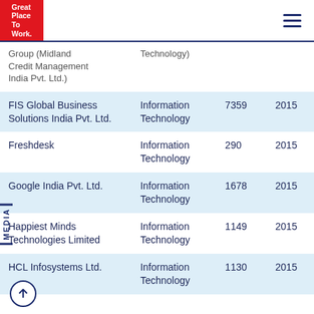Great Place To Work.
| Company | Industry | Employees | Year |
| --- | --- | --- | --- |
| Group (Midland Credit Management India Pvt. Ltd.) | Technology |  |  |
| FIS Global Business Solutions India Pvt. Ltd. | Information Technology | 7359 | 2015 |
| Freshdesk | Information Technology | 290 | 2015 |
| Google India Pvt. Ltd. | Information Technology | 1678 | 2015 |
| Happiest Minds Technologies Limited | Information Technology | 1149 | 2015 |
| HCL Infosystems Ltd. | Information Technology | 1130 | 2015 |